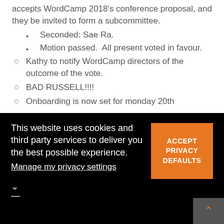accepts WordCamp 2018's conference proposal, and they be invited to form a subcommittee.
Seconded: Sae Ra.
Motion passed.  All present voted in favour.
Kathy to notify WordCamp directors of the outcome of the vote.
BAD RUSSELL!!!!
Onboarding is now set for monday 20th
This website uses cookies and third party services to deliver you the best possible experience. Manage my privacy settings
ACCEPT PRIVACY DEFAULTS